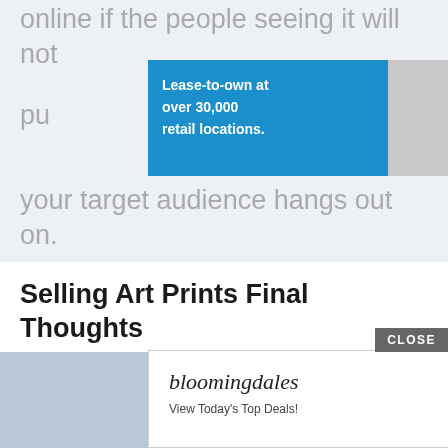online if the people seeing it will not
[Figure (screenshot): Progressive Leasing advertisement banner: 'Lease-to-own at over 30,000 retail locations.' with Apply Now button, and photo of woman with headphones]
your target audience hangs out on.
Selling Art Prints Final Thoughts
Over the past five years, more and more artists have decided to sell art online. Even galleries are taking advantage of the internet.
[Figure (screenshot): Bloomingdale's advertisement banner: 'View Today's Top Deals!' with SHOP NOW > button and image of woman in hat]